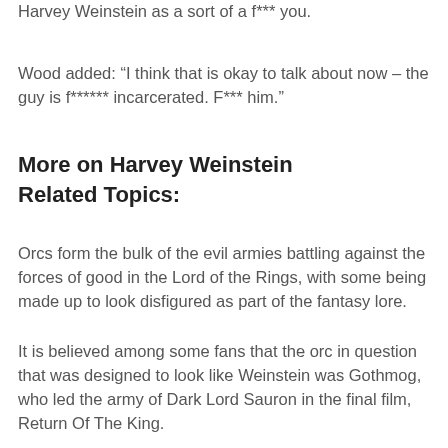Harvey Weinstein as a sort of a f*** you.
Wood added: “I think that is okay to talk about now – the guy is f****** incarcerated. F*** him.”
More on Harvey Weinstein Related Topics:
Orcs form the bulk of the evil armies battling against the forces of good in the Lord of the Rings, with some being made up to look disfigured as part of the fantasy lore.
It is believed among some fans that the orc in question that was designed to look like Weinstein was Gothmog, who led the army of Dark Lord Sauron in the final film, Return Of The King.